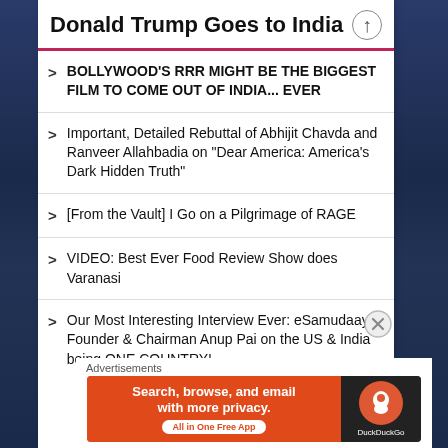Donald Trump Goes to India
BOLLYWOOD'S RRR MIGHT BE THE BIGGEST FILM TO COME OUT OF INDIA... EVER
Important, Detailed Rebuttal of Abhijit Chavda and Ranveer Allahbadia on "Dear America: America's Dark Hidden Truth"
[From the Vault] I Go on a Pilgrimage of RAGE
VIDEO: Best Ever Food Review Show does Varanasi
Our Most Interesting Interview Ever: eSamudaay Founder & Chairman Anup Pai on the US & India being ONE COUNTRY!
Advertisements
[Figure (infographic): DuckDuckGo advertisement banner: orange background on left with text 'Search, browse, and email with more privacy. All in One Free App' and DuckDuckGo logo on dark right panel.]